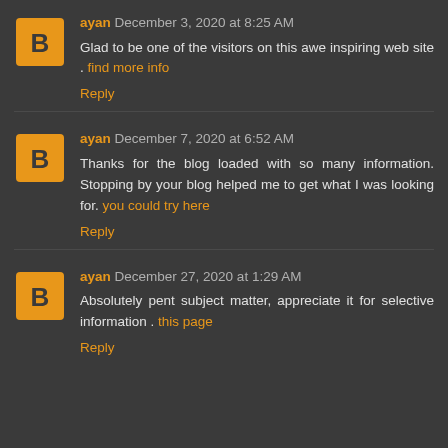ayan December 3, 2020 at 8:25 AM
Glad to be one of the visitors on this awe inspiring web site . find more info
Reply
ayan December 7, 2020 at 6:52 AM
Thanks for the blog loaded with so many information. Stopping by your blog helped me to get what I was looking for. you could try here
Reply
ayan December 27, 2020 at 1:29 AM
Absolutely pent subject matter, appreciate it for selective information . this page
Reply